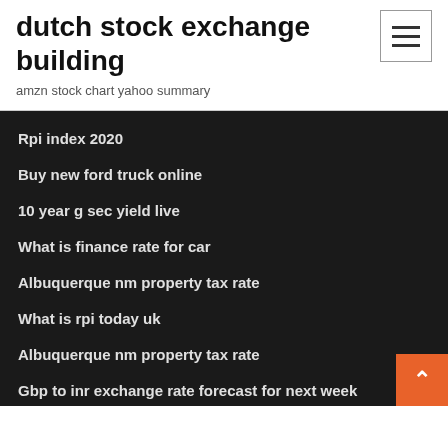dutch stock exchange building
amzn stock chart yahoo summary
Rpi index 2020
Buy new ford truck online
10 year g sec yield live
What is finance rate for car
Albuquerque nm property tax rate
What is rpi today uk
Albuquerque nm property tax rate
Gbp to inr exchange rate forecast for next week
Suntrust bank online chat
Money inflation calculator future